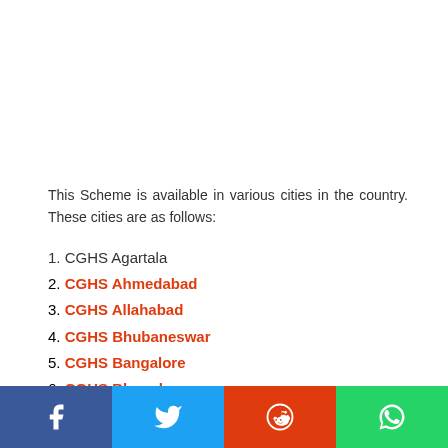This Scheme is available in various cities in the country. These cities are as follows:
1. CGHS Agartala
2. CGHS Ahmedabad
3. CGHS Allahabad
4. CGHS Bhubaneswar
5. CGHS Bangalore
6. CGHS Bhopal